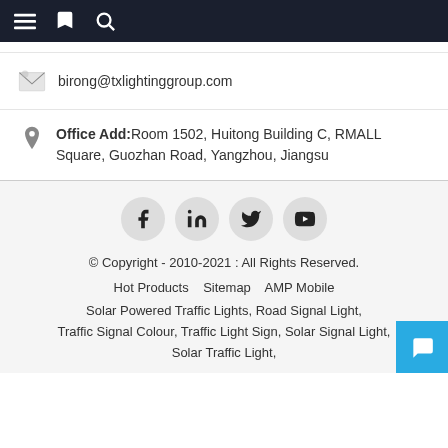Navigation bar with menu, bookmark, and search icons
birong@txlightinggroup.com
Office Add:Room 1502, Huitong Building C, RMALL Square, Guozhan Road, Yangzhou, Jiangsu
[Figure (other): Social media icons: Facebook, LinkedIn, Twitter, YouTube]
© Copyright - 2010-2021 : All Rights Reserved.
Hot Products   Sitemap   AMP Mobile
Solar Powered Traffic Lights, Road Signal Light, Traffic Signal Colour, Traffic Light Sign, Solar Signal Light, Solar Traffic Light,